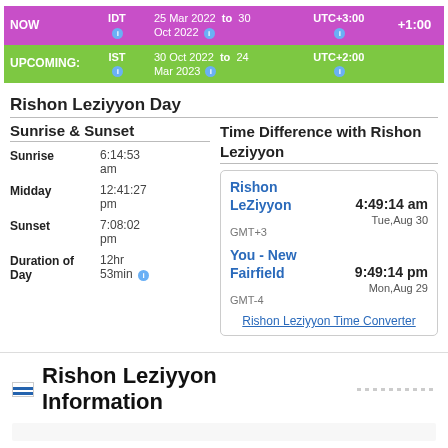|  | TZ | Date Range | UTC Offset | Diff |
| --- | --- | --- | --- | --- |
| NOW | IDT ℹ | 25 Mar 2022 to 30 Oct 2022 ℹ | UTC+3:00 ℹ | +1:00 |
| UPCOMING: | IST ℹ | 30 Oct 2022 to 24 Mar 2023 ℹ | UTC+2:00 ℹ |  |
Rishon Leziyyon Day
Sunrise & Sunset
Sunrise 6:14:53 am
Midday 12:41:27 pm
Sunset 7:08:02 pm
Duration of Day 12hr 53min
Time Difference with Rishon Leziyyon
Rishon LeZiyyon GMT+3 — 4:49:14 am Tue,Aug 30
You - New Fairfield GMT-4 — 9:49:14 pm Mon,Aug 29
Rishon Leziyyon Time Converter
Rishon Leziyyon Information